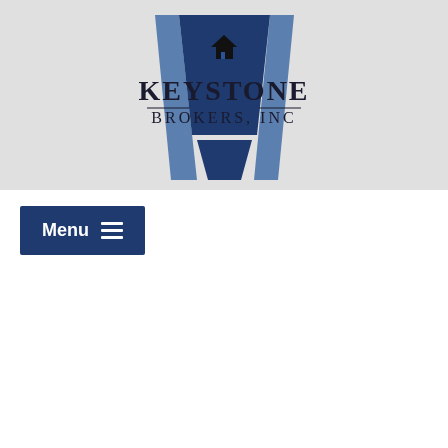[Figure (logo): Keystone Brokers, Inc logo — dark blue keystone shape with house silhouette at top, flanked by two lighter blue angular stripes, with 'KEYSTONE BROKERS, INC' text in serif font below the keystone graphic]
Menu ☰